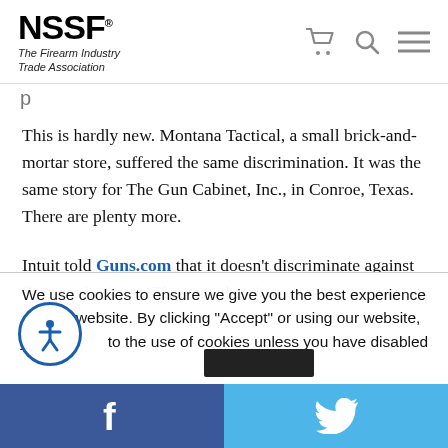NSSF® The Firearm Industry Trade Association [with cart, search, menu icons]
p
This is hardly new. Montana Tactical, a small brick-and-mortar store, suffered the same discrimination. It was the same story for The Gun Cabinet, Inc., in Conroe, Texas. There are plenty more.
Intuit told Guns.com that it doesn't discriminate against firearms business. They say they just require
We use cookies to ensure we give you the best experience on our website. By clicking "Accept" or using our website, you consent to the use of cookies unless you have disabled them.
Facebook share | Twitter share